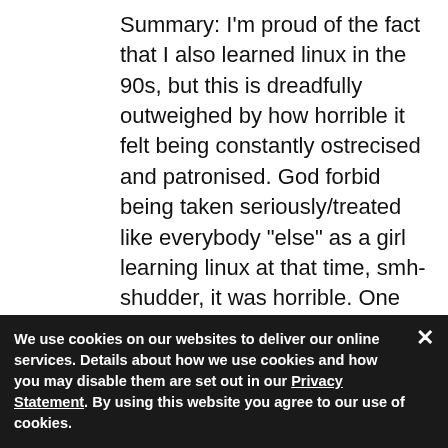Summary: I'm proud of the fact that I also learned linux in the 90s, but this is dreadfully outweighed by how horrible it felt being constantly ostrecised and patronised. God forbid being taken seriously/treated like everybody "else" as a girl learning linux at that time, smh-shudder, it was horrible. One day I might forgive you guys, but it's not today.
Don Watkins | November 20, 2019
submit your own Linux story. I'm
ht
We use cookies on our websites to deliver our online services. Details about how we use cookies and how you may disable them are set out in our Privacy Statement. By using this website you agree to our use of cookies.